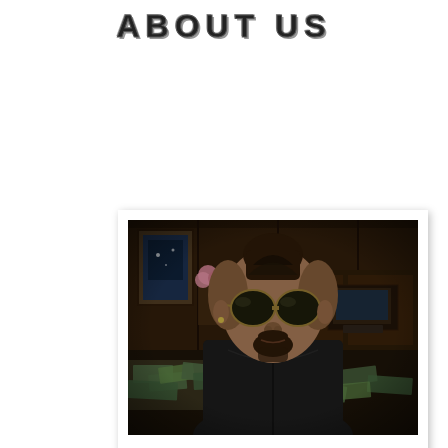ABOUT US
[Figure (photo): A polaroid-style photo of a video game character (appears to be from GTA V or similar) — a male character with a partially shaved head, sunglasses, goatee, wearing a dark jacket. He is in a luxurious dark wood-paneled office room with money scattered on the floor. The scene is rendered in a realistic video game style.]